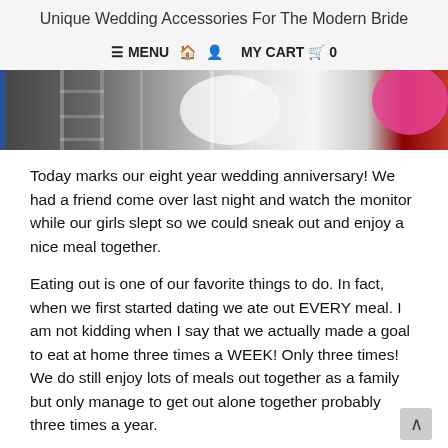Unique Wedding Accessories For The Modern Bride
≡ MENU  🏠  👤  MY CART  🛒  0
[Figure (photo): Partial view of hanging garments and fabric items, including what appears to be white dresses and a red/pink wig, on a rack or hangers against a dark background.]
Today marks our eight year wedding anniversary! We had a friend come over last night and watch the monitor while our girls slept so we could sneak out and enjoy a nice meal together.
Eating out is one of our favorite things to do. In fact, when we first started dating we ate out EVERY meal. I am not kidding when I say that we actually made a goal to eat at home three times a WEEK! Only three times! We do still enjoy lots of meals out together as a family but only manage to get out alone together probably three times a year.
So last night was a rare treat. I savored every minute. I took my time eating my meal, sipped my wine and